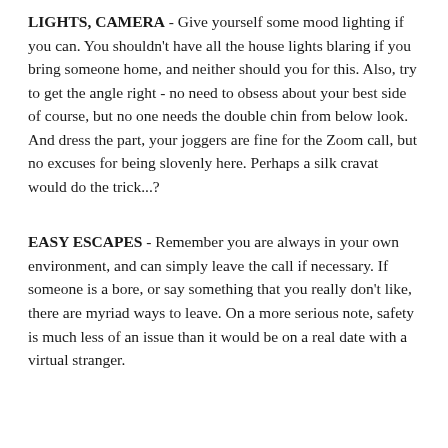LIGHTS, CAMERA - Give yourself some mood lighting if you can. You shouldn't have all the house lights blaring if you bring someone home, and neither should you for this. Also, try to get the angle right - no need to obsess about your best side of course, but no one needs the double chin from below look. And dress the part, your joggers are fine for the Zoom call, but no excuses for being slovenly here. Perhaps a silk cravat would do the trick...?
EASY ESCAPES - Remember you are always in your own environment, and can simply leave the call if necessary. If someone is a bore, or say something that you really don't like, there are myriad ways to leave. On a more serious note, safety is much less of an issue than it would be on a real date with a virtual stranger.